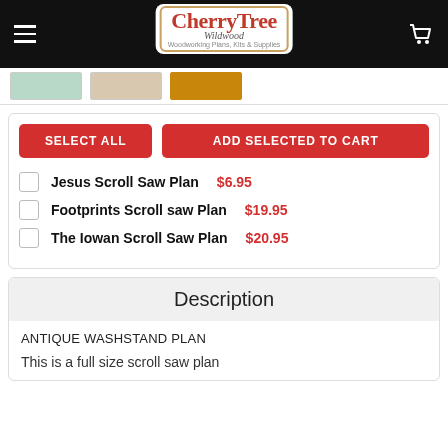[Figure (logo): CherryTree Wildwood logo on black navigation bar with hamburger menu and cart icon]
[Figure (screenshot): Product thumbnail strip showing three product image thumbnails]
SELECT ALL
ADD SELECTED TO CART
Jesus Scroll Saw Plan  $6.95
Footprints Scroll saw Plan  $19.95
The Iowan Scroll Saw Plan  $20.95
Description
ANTIQUE WASHSTAND PLAN
This is a full size scroll saw plan